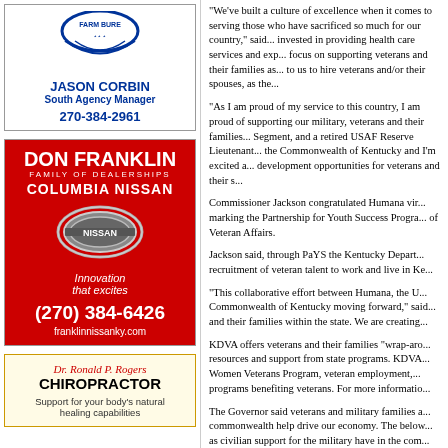[Figure (logo): Farm Bureau logo (partial, blue circular emblem)]
JASON CORBIN
South Agency Manager
270-384-2961
[Figure (advertisement): Don Franklin Family of Dealerships Columbia Nissan advertisement with Nissan logo, red background, phone (270) 384-6426, website franklinnissanky.com]
Dr. Ronald P. Rogers
CHIROPRACTOR
Support for your body's natural healing capabilities
"We've built a culture of excellence when it comes to serving those who have sacrificed so much for our country," said... invested in providing health care services and exp... focus on supporting veterans and their families as... to us to hire veterans and/or their spouses, as the...
"As I am proud of my service to this country, I am proud of supporting our military, veterans and their families... Segment, and a retired USAF Reserve Lieutenant... the Commonwealth of Kentucky and I'm excited a... development opportunities for veterans and their s...
Commissioner Jackson congratulated Humana vir... marking the Partnership for Youth Success Progra... of Veteran Affairs.
Jackson said, through PaYS the Kentucky Depart... recruitment of veteran talent to work and live in Ke...
"This collaborative effort between Humana, the U... Commonwealth of Kentucky moving forward," said... and their families within the state. We are creating...
KDVA offers veterans and their families "wrap-aro... resources and support from state programs. KDVA... Women Veterans Program, veteran employment,... programs benefiting veterans. For more informatio...
The Governor said veterans and military families a... commonwealth help drive our economy. The below... as civilian support for the military have in the com...
More than 54,800 DOD personnel-based...